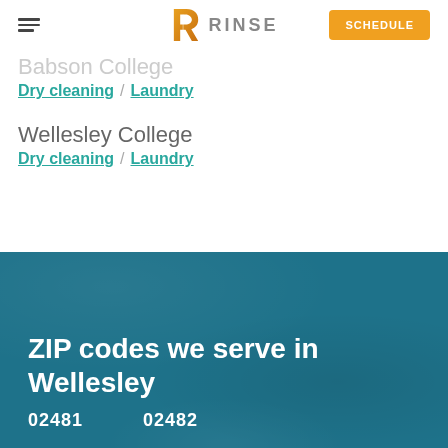RINSE — SCHEDULE
Babson College
Dry cleaning / Laundry
Wellesley College
Dry cleaning / Laundry
ZIP codes we serve in Wellesley
02481   02482